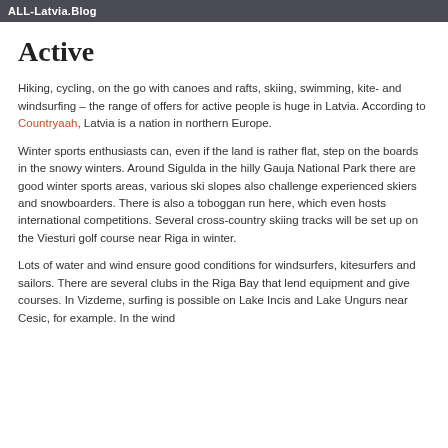ALL-Latvia.Blog
Active
Hiking, cycling, on the go with canoes and rafts, skiing, swimming, kite- and windsurfing – the range of offers for active people is huge in Latvia. According to Countryaah, Latvia is a nation in northern Europe.
Winter sports enthusiasts can, even if the land is rather flat, step on the boards in the snowy winters. Around Sigulda in the hilly Gauja National Park there are good winter sports areas, various ski slopes also challenge experienced skiers and snowboarders. There is also a toboggan run here, which even hosts international competitions. Several cross-country skiing tracks will be set up on the Viesturi golf course near Riga in winter.
Lots of water and wind ensure good conditions for windsurfers, kitesurfers and sailors. There are several clubs in the Riga Bay that lend equipment and give courses. In Vizdeme, surfing is possible on Lake Incis and Lake Ungurs near Cesic, for example. In the wind